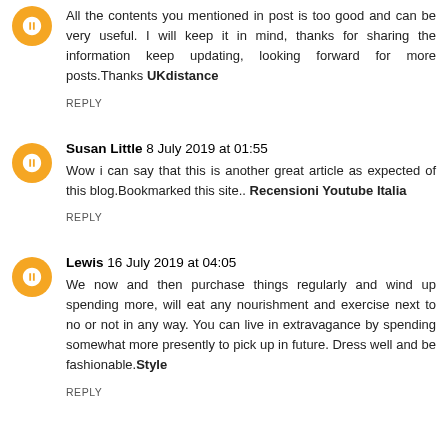All the contents you mentioned in post is too good and can be very useful. I will keep it in mind, thanks for sharing the information keep updating, looking forward for more posts.Thanks UKdistance
REPLY
Susan Little 8 July 2019 at 01:55
Wow i can say that this is another great article as expected of this blog.Bookmarked this site.. Recensioni Youtube Italia
REPLY
Lewis 16 July 2019 at 04:05
We now and then purchase things regularly and wind up spending more, will eat any nourishment and exercise next to no or not in any way. You can live in extravagance by spending somewhat more presently to pick up in future. Dress well and be fashionable.Style
REPLY